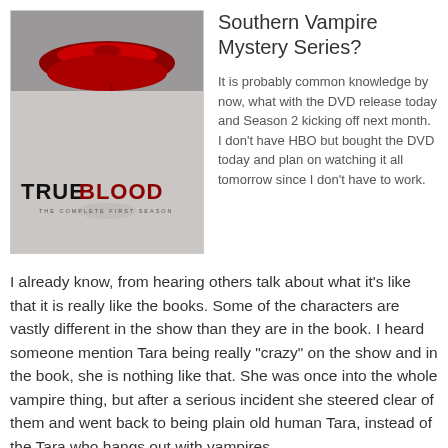[Figure (photo): True Blood: The Complete First Season DVD cover showing close-up of red lips with blood drip and the title TRUE BLOOD THE COMPLETE FIRST SEASON]
Southern Vampire Mystery Series?
It is probably common knowledge by now, what with the DVD release today and Season 2 kicking off next month. I don't have HBO but bought the DVD today and plan on watching it all tomorrow since I don't have to work.
I already know, from hearing others talk about what it's like that it is really like the books. Some of the characters are vastly different in the show than they are in the book. I heard someone mention Tara being really "crazy" on the show and in the book, she is nothing like that. She was once into the whole vampire thing, but after a serious incident she steered clear of them and went back to being plain old human Tara, instead of the Tara who hangs out with vampires.